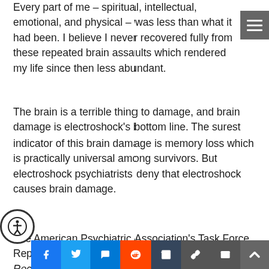Every part of me – spiritual, intellectual, emotional, and physical – was less than what it had been. I believe I never recovered fully from these repeated brain assaults which rendered my life since then less abundant.
The brain is a terrible thing to damage, and brain damage is electroshock's bottom line. The surest indicator of this brain damage is memory loss which is practically universal among survivors. But electroshock psychiatrists deny that electroshock causes brain damage.
The American Psychiatric Association's Task Force Report, The Practice of Electroconvulsive Therapy: Recommendations for Treatment,